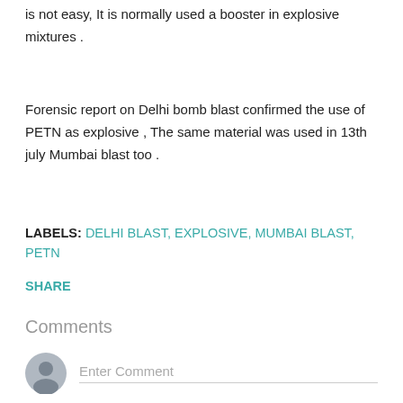is not easy, It is normally used a booster in explosive mixtures .
Forensic report on Delhi bomb blast confirmed the use of PETN as explosive , The same material was used in 13th july Mumbai blast too .
LABELS: DELHI BLAST, EXPLOSIVE, MUMBAI BLAST, PETN
SHARE
Comments
Enter Comment